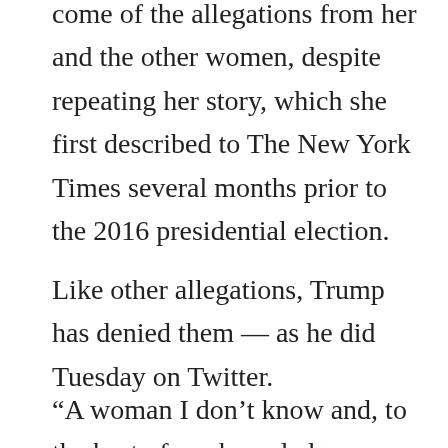come of the allegations from her and the other women, despite repeating her story, which she first described to The New York Times several months prior to the 2016 presidential election.
Like other allegations, Trump has denied them — as he did Tuesday on Twitter.
“A woman I don’t know and, to the best of my knowledge,